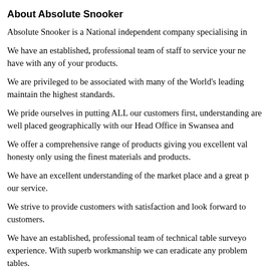About Absolute Snooker
Absolute Snooker is a National independent company specialising in
We have an established, professional team of staff to service your ne have with any of your products.
We are privileged to be associated with many of the World's leading maintain the highest standards.
We pride ourselves in putting ALL our customers first, understanding are well placed geographically with our Head Office in Swansea and
We offer a comprehensive range of products giving you excellent val honesty only using the finest materials and products.
We have an excellent understanding of the market place and a great p our service.
We strive to provide customers with satisfaction and look forward to customers.
We have an established, professional team of technical table surveyo experience. With superb workmanship we can eradicate any problem tables.